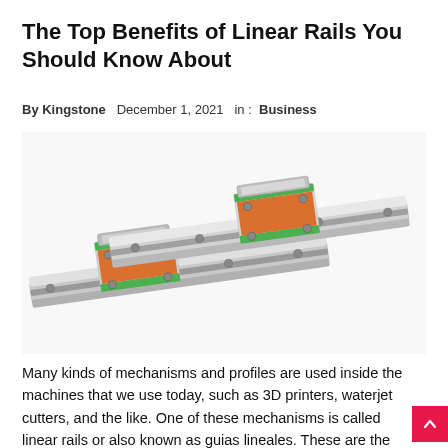The Top Benefits of Linear Rails You Should Know About
By Kingstone   December 1, 2021   in :  Business
[Figure (photo): Two silver linear rail guide systems with orange and green carriage blocks, shown side by side on a white background.]
Many kinds of mechanisms and profiles are used inside the machines that we use today, such as 3D printers, waterjet cutters, and the like. One of these mechanisms is called linear rails or also known as guias lineales. These are the type of